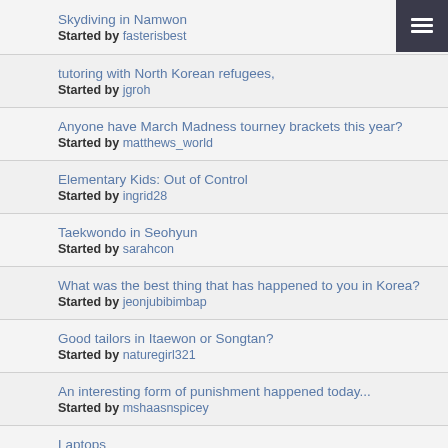Skydiving in Namwon
Started by fasterisbest
tutoring with North Korean refugees,
Started by jgroh
Anyone have March Madness tourney brackets this year?
Started by matthews_world
Elementary Kids: Out of Control
Started by ingrid28
Taekwondo in Seohyun
Started by sarahcon
What was the best thing that has happened to you in Korea?
Started by jeonjubibimbap
Good tailors in Itaewon or Songtan?
Started by naturegirl321
An interesting form of punishment happened today...
Started by mshaasnspicey
Laptops
Started by manual
Beer in Korea
Started by Rusty Brown
Who is the best recruiter for last minute public school positions?
Started by mel647